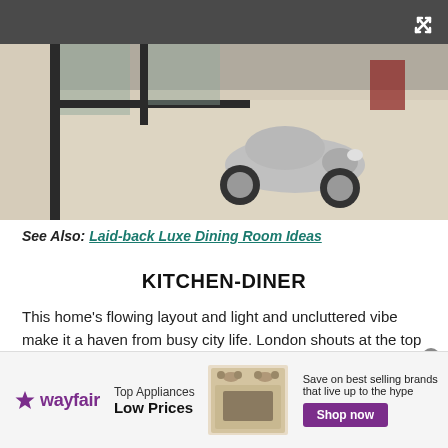[Figure (photo): Interior room photo showing a metallic silver toy car on a light wood floor with glass partition walls and dark metal frames in the background]
See Also: Laid-back Luxe Dining Room Ideas
KITCHEN-DINER
This home's flowing layout and light and uncluttered vibe make it a haven from busy city life. London shouts at the top of its voice all the time. Here, everything is softly spoken.
[Figure (infographic): Wayfair advertisement banner: Top Appliances Low Prices, image of stove/oven, Save on best selling brands that live up to the hype, Shop now button]